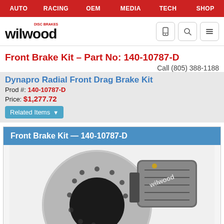AUTO | RACING | OEM | MEDIA | TECH | SHOP
[Figure (logo): Wilwood Disc Brakes logo with phone, search, and menu icons]
Front Brake Kit – Part No: 140-10787-D
Call (805) 388-1188
Dynapro Radial Front Drag Brake Kit
Prod #: 140-10787-D
Price: $1,277.72
Related Items
Front Brake Kit — 140-10787-D
[Figure (photo): Wilwood front brake kit showing a drilled and slotted rotor with a multi-piston caliper labeled Wilwood]